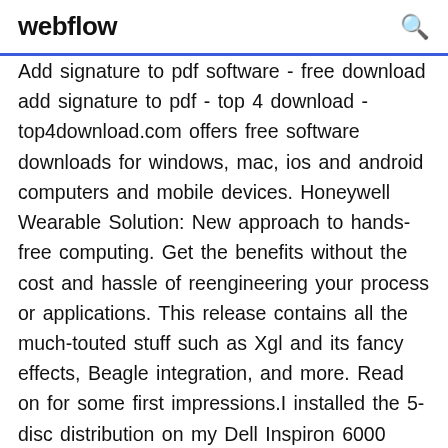webflow
Add signature to pdf software - free download add signature to pdf - top 4 download - top4download.com offers free software downloads for windows, mac, ios and android computers and mobile devices. Honeywell Wearable Solution: New approach to hands-free computing. Get the benefits without the cost and hassle of reengineering your process or applications. This release contains all the much-touted stuff such as Xgl and its fancy effects, Beagle integration, and more. Read on for some first impressions.I installed the 5-disc distribution on my Dell Inspiron 6000 laptop, which has an Intel... Another is GS-SDK development kit .You can embedded SDK into